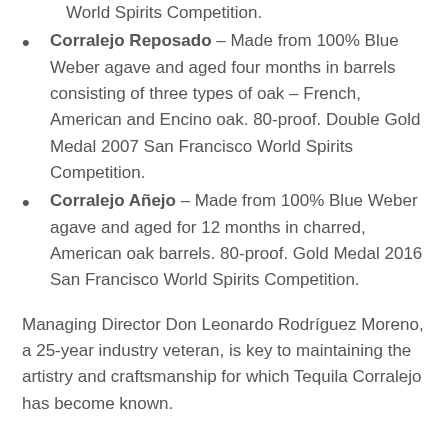World Spirits Competition.
Corralejo Reposado – Made from 100% Blue Weber agave and aged four months in barrels consisting of three types of oak – French, American and Encino oak. 80-proof. Double Gold Medal 2007 San Francisco World Spirits Competition.
Corralejo Añejo – Made from 100% Blue Weber agave and aged for 12 months in charred, American oak barrels. 80-proof. Gold Medal 2016 San Francisco World Spirits Competition.
Managing Director Don Leonardo Rodríguez Moreno, a 25-year industry veteran, is key to maintaining the artistry and craftsmanship for which Tequila Corralejo has become known.